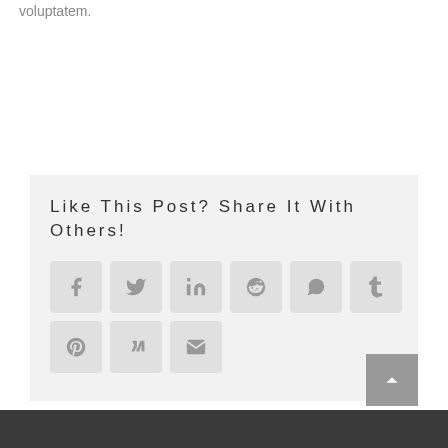voluptatem.
Like This Post? Share It With Others!
[Figure (infographic): Social share buttons: Facebook, Twitter, LinkedIn, Reddit, WhatsApp, Tumblr, Pinterest, VK, Email]